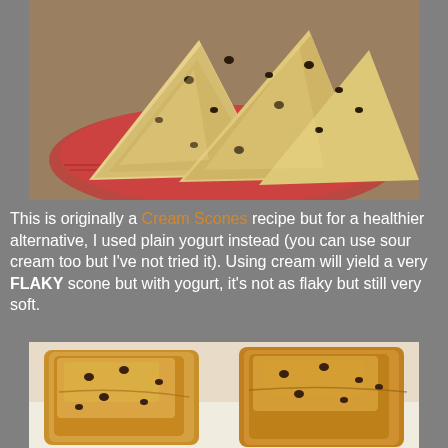[Figure (photo): Close-up photo of triangular cream/chocolate chip scones on a red and white decorative plate]
This is originally a Cream Scones recipe but for a healthier alternative, I used plain yogurt instead (you can use sour cream too but I've not tried it). Using cream will yield a very FLAKY scone but with yogurt, it's not as flaky but still very soft.
[Figure (photo): Close-up photo of square-shaped baked scones with chocolate chips on a white surface, golden-brown top]